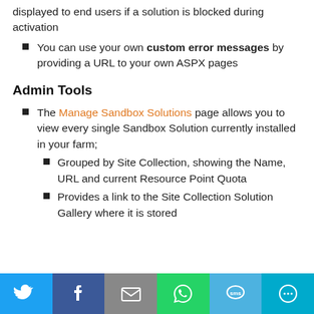displayed to end users if a solution is blocked during activation
You can use your own custom error messages by providing a URL to your own ASPX pages
Admin Tools
The Manage Sandbox Solutions page allows you to view every single Sandbox Solution currently installed in your farm;
Grouped by Site Collection, showing the Name, URL and current Resource Point Quota
Provides a link to the Site Collection Solution Gallery where it is stored
[Figure (infographic): Social sharing bar with Twitter, Facebook, Email, WhatsApp, SMS, and More buttons]